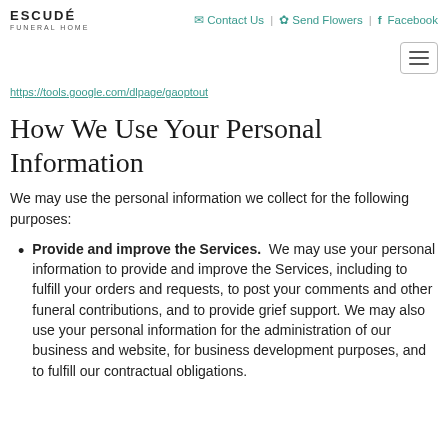Escudé Funeral Home | Contact Us | Send Flowers | Facebook
https://tools.google.com/dlpage/gaoptout
How We Use Your Personal Information
We may use the personal information we collect for the following purposes:
Provide and improve the Services. We may use your personal information to provide and improve the Services, including to fulfill your orders and requests, to post your comments and other funeral contributions, and to provide grief support. We may also use your personal information for the administration of our business and website, for business development purposes, and to fulfill our contractual obligations.